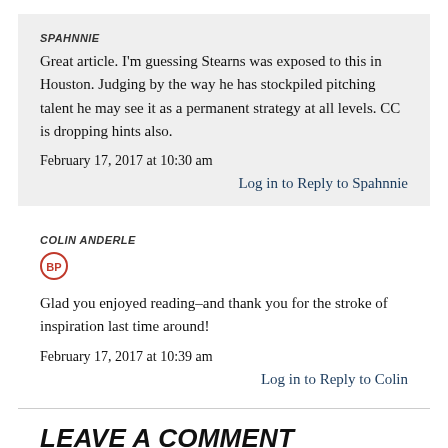SPAHNNIE
Great article. I'm guessing Stearns was exposed to this in Houston. Judging by the way he has stockpiled pitching talent he may see it as a permanent strategy at all levels. CC is dropping hints also.
February 17, 2017 at 10:30 am
Log in to Reply to Spahnnie
COLIN ANDERLE
[Figure (logo): BP circular badge/logo icon]
Glad you enjoyed reading–and thank you for the stroke of inspiration last time around!
February 17, 2017 at 10:39 am
Log in to Reply to Colin
LEAVE A COMMENT